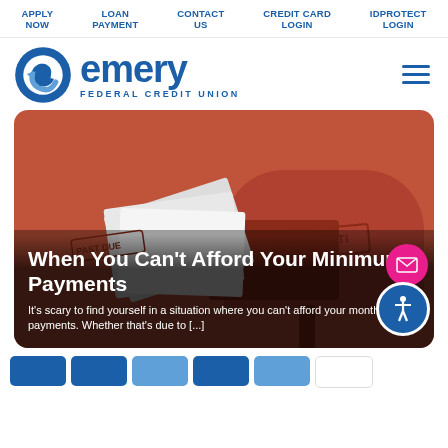APPLY NOW | LOAN PAYMENT | CONTACT US | CREDIT CARD LOGIN | IDPROTECT LOGIN
[Figure (logo): Emery Federal Credit Union logo — circular blue/white interlocking arrows icon with 'emery' in bold blue and 'FEDERAL CREDIT UNION' below]
[Figure (photo): Hero banner image showing an open orange mailbox with envelopes stamped 'FINAL NOTICE' and 'PAST DUE', overlaid with article title and excerpt text]
When You Can’t Afford Your Minimum Payments
It’s scary to find yourself in a situation where you can’t afford your monthly debt payments. Whether that’s due to [...]